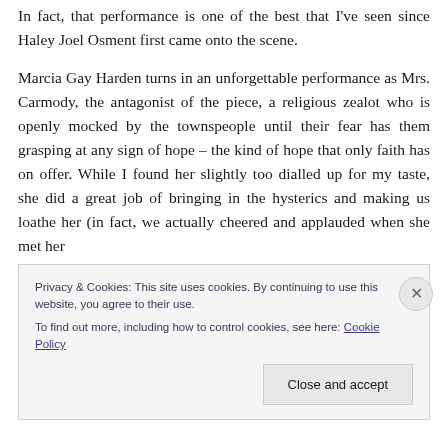In fact, that performance is one of the best that I've seen since Haley Joel Osment first came onto the scene.
Marcia Gay Harden turns in an unforgettable performance as Mrs. Carmody, the antagonist of the piece, a religious zealot who is openly mocked by the townspeople until their fear has them grasping at any sign of hope – the kind of hope that only faith has on offer. While I found her slightly too dialled up for my taste, she did a great job of bringing in the hysterics and making us loathe her (in fact, we actually cheered and applauded when she met her
Privacy & Cookies: This site uses cookies. By continuing to use this website, you agree to their use.
To find out more, including how to control cookies, see here: Cookie Policy
Close and accept